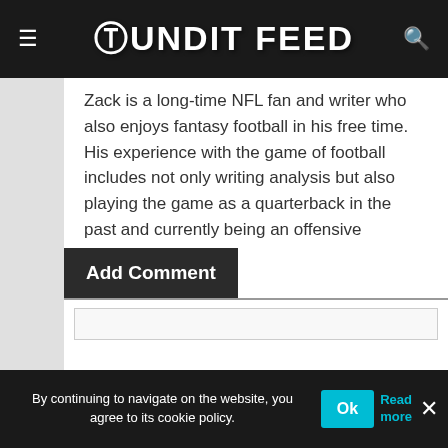Pundit Feed
Zack TC
Zack is a long-time NFL fan and writer who also enjoys fantasy football in his free time. His experience with the game of football includes not only writing analysis but also playing the game as a quarterback in the past and currently being an offensive playcaller for a local team.
Add Comment
By continuing to navigate on the website, you agree to its cookie policy.